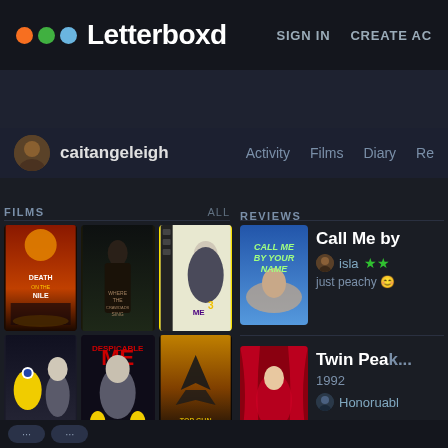Letterboxd   SIGN IN   CREATE ACCOUNT
caitangeleigh   Activity   Films   Diary   Re...
FILMS   ALL
[Figure (screenshot): Grid of 6 movie poster thumbnails: Death on the Nile, Where the Crawdads Sing, Despicable Me 3, Despicable Me 2, Despicable Me, Top Gun Maverick]
REVIEWS
[Figure (photo): Call Me By Your Name movie poster (blue background with handwritten-style title)]
Call Me by
isla ★★
just peachy 😊
[Figure (photo): Twin Peaks: Fire Walk With Me movie poster (red curtain with figures)]
Twin Pea...
1992
Honoruabl...